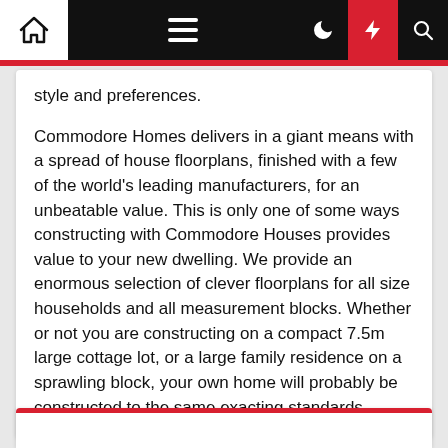Navigation bar with home, menu, moon, lightning, and search icons
style and preferences.
Commodore Homes delivers in a giant means with a spread of house floorplans, finished with a few of the world's leading manufacturers, for an unbeatable value. This is only one of some ways constructing with Commodore Houses provides value to your new dwelling. We provide an enormous selection of clever floorplans for all size households and all measurement blocks. Whether or not you are constructing on a compact 7.5m large cottage lot, or a large family residence on a sprawling block, your own home will probably be constructed to the same exacting standards.